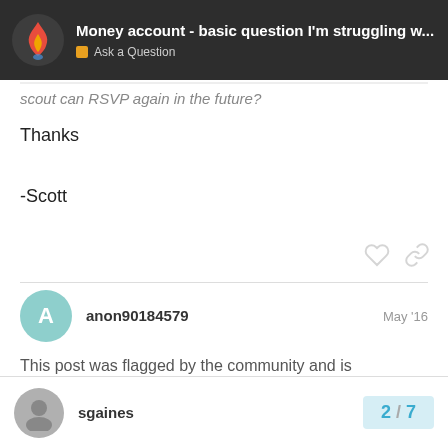Money account - basic question I'm struggling w... | Ask a Question
scout can RSVP again in the future?
Thanks

-Scott
anon90184579  May '16
This post was flagged by the community and is temporarily hidden.
View ignored content.
sgaines  2 / 7